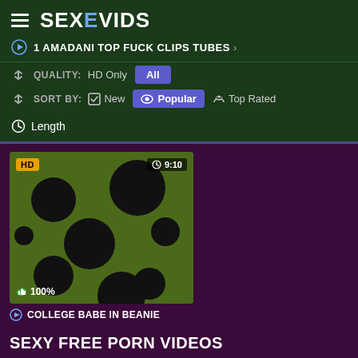SEXEVIDS
1 AMADANI TOP FUCK CLIPS TUBES >
QUALITY: HD Only  All
SORT BY:  New  Popular  Top Rated
Length
[Figure (screenshot): Video thumbnail with dark olive green background and black circles pattern. HD badge top-left, 9:10 duration top-right, 100% rating bottom-left.]
COLLEGE BABE IN BEANIE
SEXY FREE PORN VIDEOS